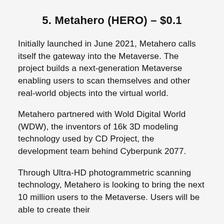5. Metahero (HERO) – $0.1
Initially launched in June 2021, Metahero calls itself the gateway into the Metaverse. The project builds a next-generation Metaverse enabling users to scan themselves and other real-world objects into the virtual world.
Metahero partnered with Wold Digital World (WDW), the inventors of 16k 3D modeling technology used by CD Project, the development team behind Cyberpunk 2077.
Through Ultra-HD photogrammetric scanning technology, Metahero is looking to bring the next 10 million users to the Metaverse. Users will be able to create their